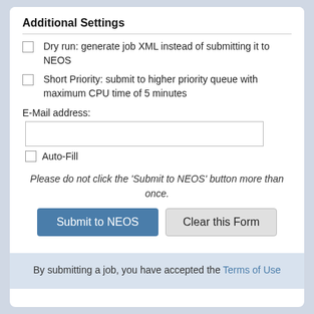Additional Settings
Dry run: generate job XML instead of submitting it to NEOS
Short Priority: submit to higher priority queue with maximum CPU time of 5 minutes
E-Mail address:
Auto-Fill
Please do not click the 'Submit to NEOS' button more than once.
Submit to NEOS | Clear this Form
By submitting a job, you have accepted the Terms of Use